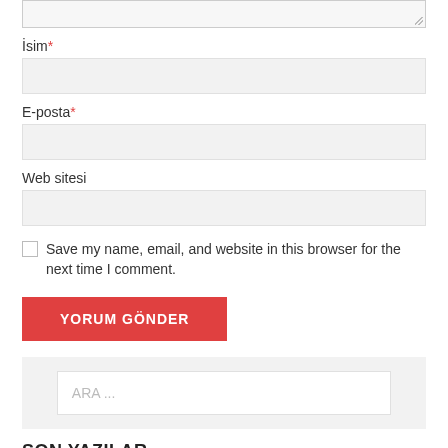[Figure (screenshot): Top portion of a textarea input field with resize handle]
İsim*
[Figure (screenshot): Text input field for İsim (name)]
E-posta*
[Figure (screenshot): Text input field for E-posta (email)]
Web sitesi
[Figure (screenshot): Text input field for Web sitesi (website)]
Save my name, email, and website in this browser for the next time I comment.
[Figure (screenshot): Red submit button labeled YORUM GÖNDER]
[Figure (screenshot): Search box with placeholder text ARA ...]
SON YAZILAR